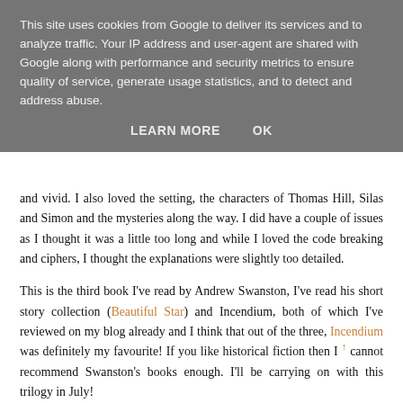This site uses cookies from Google to deliver its services and to analyze traffic. Your IP address and user-agent are shared with Google along with performance and security metrics to ensure quality of service, generate usage statistics, and to detect and address abuse.
LEARN MORE   OK
and vivid. I also loved the setting, the characters of Thomas Hill, Silas and Simon and the mysteries along the way. I did have a couple of issues as I thought it was a little too long and while I loved the code breaking and ciphers, I thought the explanations were slightly too detailed.
This is the third book I've read by Andrew Swanston, I've read his short story collection (Beautiful Star) and Incendium, both of which I've reviewed on my blog already and I think that out of the three, Incendium was definitely my favourite! If you like historical fiction then I cannot recommend Swanston's books enough. I'll be carrying on with this trilogy in July!